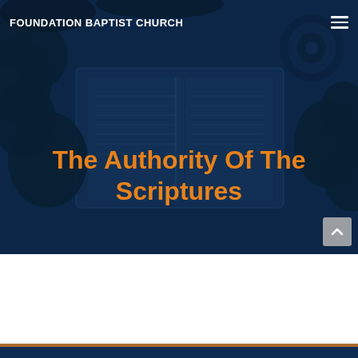[Figure (photo): Dark blue-tinted hero banner showing an open Bible on a desk with plants, leaves, and a speaker in the background. A semi-transparent dark blue overlay covers the image.]
FOUNDATION BAPTIST CHURCH
The Authority Of The Scriptures